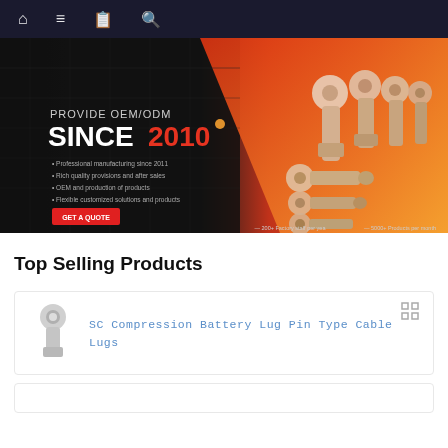Navigation bar with home, menu, catalog, and search icons
[Figure (photo): Hero banner showing cable lugs/battery terminals product lineup with text 'PROVIDE OEM/ODM SINCE 2010' on dark background with orange-red gradient on right side. Features bullet points about professional manufacturing and a 'GET A QUOTE' button.]
Top Selling Products
[Figure (photo): Product image of SC Compression Battery Lug Pin Type Cable Lug - small silver/chrome colored cable lug terminal]
SC Compression Battery Lug Pin Type Cable Lugs